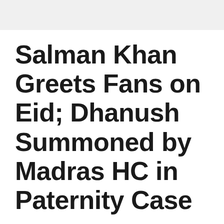Salman Khan Greets Fans on Eid; Dhanush Summoned by Madras HC in Paternity Case
May 4, 2022 by adminbolly